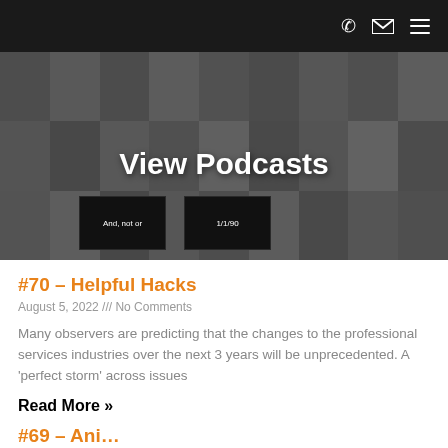View Podcasts
[Figure (photo): Hero banner with collage of grayscale thumbnail images and 'View Podcasts' title text overlay. Two dark podcast thumbnail cards visible: 'And, not or' and '1/1/90']
#70 – Helpful Hacks
August 5, 2022 /// No Comments
Many observers are predicting that the changes to the professional services industries over the next 3 years will be unprecedented. A 'perfect storm' across issues
Read More »
#69 – Ani…